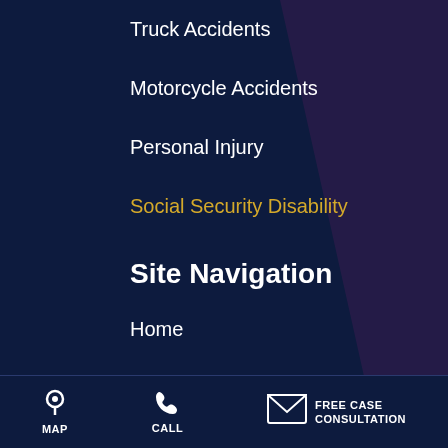Truck Accidents
Motorcycle Accidents
Personal Injury
Social Security Disability
Site Navigation
Home
Blog
Contact Us
About Us
MAP   CALL   FREE CASE CONSULTATION